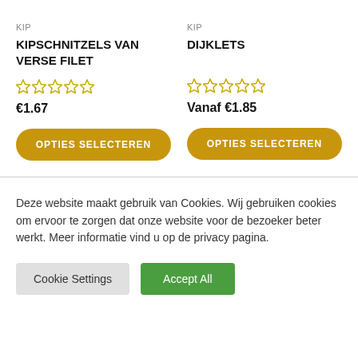KIP
KIPSCHNITZELS VAN VERSE FILET
[Figure (other): 5 empty star rating icons]
€1.67
OPTIES SELECTEREN
KIP
DIJKLETS
[Figure (other): 5 empty star rating icons]
Vanaf €1.85
OPTIES SELECTEREN
Deze website maakt gebruik van Cookies. Wij gebruiken cookies om ervoor te zorgen dat onze website voor de bezoeker beter werkt. Meer informatie vind u op de privacy pagina.
Cookie Settings
Accept All